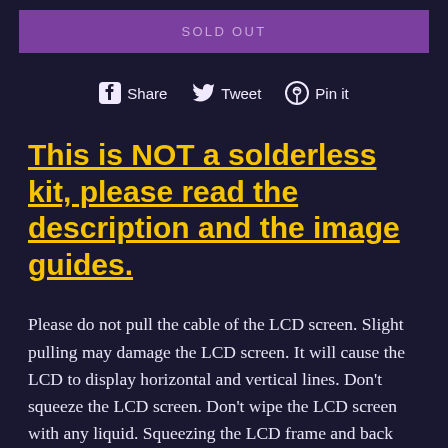SOLD OUT
Share  Tweet  Pin it
This is NOT a solderless kit, please read the description and the image guides.
Please do not pull the cable of the LCD screen. Slight pulling may damage the LCD screen. It will cause the LCD to display horizontal and vertical lines. Don't squeeze the LCD screen. Don't wipe the LCD screen with any liquid. Squeezing the LCD frame and back cover will lead to uneven backlight display, light spot